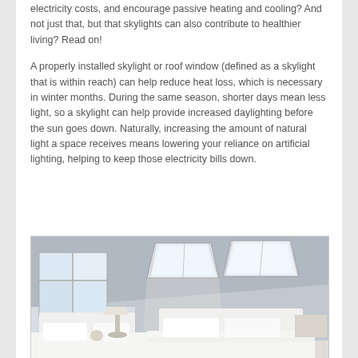electricity costs, and encourage passive heating and cooling?  And not just that, but that skylights can also contribute to healthier living? Read on!
A properly installed skylight or roof window (defined as a skylight that is within reach) can help reduce heat loss, which is necessary in winter months.  During the same season, shorter days mean less light, so a skylight can help provide increased daylighting before the sun goes down.  Naturally, increasing the amount of natural light a space receives means lowering your reliance on artificial lighting, helping to keep those electricity bills down.
[Figure (photo): A bright bedroom with white bedding and two skylights on a sloped ceiling, with a window on the left side letting in natural light.]